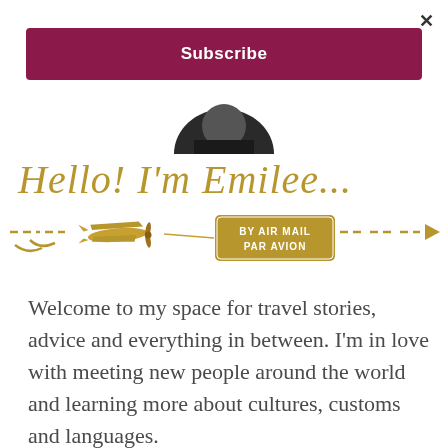×
Subscribe
[Figure (photo): Circular cropped profile photo of a person, bottom portion visible showing dark clothing and hands]
Hello! I'm Emilee...
[Figure (illustration): Golden illustration of a vintage biplane with a dashed flight path and a luggage tag reading BY AIR MAIL / PAR AVION]
Welcome to my space for travel stories, advice and everything in between. I'm in love with meeting new people around the world and learning more about cultures, customs and languages.